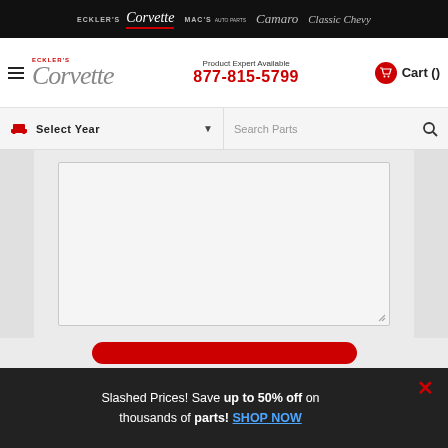ECKLER'S | Eckler's Corvette | MAC'S AUTO PARTS | Camaro | Classic Chevy
[Figure (logo): Eckler's Corvette logo with hamburger menu, phone number 877-815-5799, and Cart]
[Figure (screenshot): Year selector dropdown and Search Parts bar]
[Figure (screenshot): Large textarea input box on grey background]
[Figure (screenshot): Red rounded button partially visible]
Slashed Prices! Save up to 50% off on thousands of parts! SHOP NOW